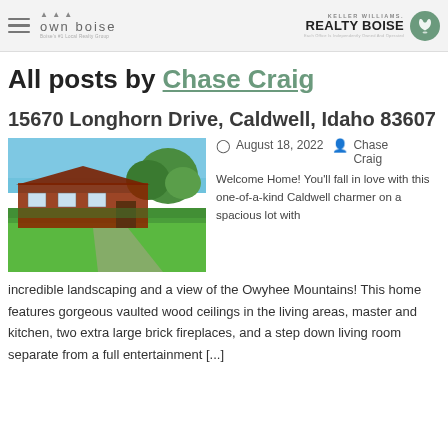own boise | KELLER WILLIAMS REALTY BOISE
All posts by Chase Craig
15670 Longhorn Drive, Caldwell, Idaho 83607
[Figure (photo): Exterior photo of a single-story ranch-style home with a large green lawn and trees under a blue sky]
August 18, 2022   Chase Craig
Welcome Home! You'll fall in love with this one-of-a-kind Caldwell charmer on a spacious lot with incredible landscaping and a view of the Owyhee Mountains! This home features gorgeous vaulted wood ceilings in the living areas, master and kitchen, two extra large brick fireplaces, and a step down living room separate from a full entertainment [...]